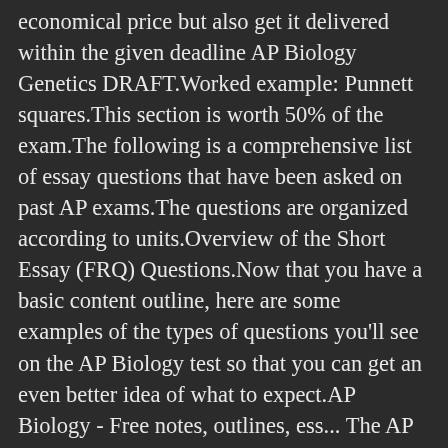economical price but also get it delivered within the given deadline AP Biology Genetics DRAFT.Worked example: Punnett squares.This section is worth 50% of the exam.The following is a comprehensive list of essay questions that have been asked on past AP exams.The questions are organized according to units.Overview of the Short Essay (FRQ) Questions.Now that you have a basic content outline, here are some examples of the types of questions you'll see on the AP Biology test so that you can get an even better idea of what to expect.AP Biology - Free notes, outlines, ess... The AP ® Biology exam tests topics and skills discussed in your high school Advanced Placement Biology course.AP BIOLOGY OUTLINE FOR GENETICS: GENETICS: 1.Directions: Questions 1 and 2 are long free-response questions that require about 22 minutes each to answer and are worth 10 points each.One question is on ap biology essay questions